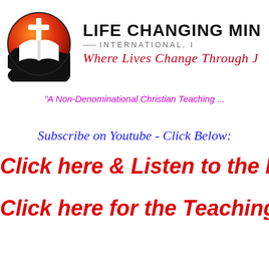[Figure (logo): Circular logo with orange/red gradient globe, white cross and open Bible, black silhouette foreground, with gray shadow beneath]
LIFE CHANGING MIN... INTERNATIONAL, I... Where Lives Change Through J...
"A Non-Denominational Christian Teaching ..."
Subscribe on Youtube - Click Below:
Click here & Listen to the Bib...
Click here for the Teachings!